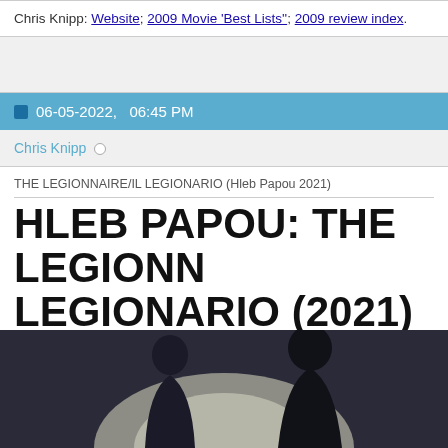Chris Knipp: Website; 2009 Movie 'Best Lists''; 2009 review index.
06-05-2022,   06:45 PM
Chris Knipp
THE LEGIONNAIRE/IL LEGIONARIO (Hleb Papou 2021)
HLEB PAPOU: THE LEGIONNAIRE/IL LEGIONARIO (2021)
[Figure (photo): Dark cinematic still from the film showing two figures/silhouettes against a light background]